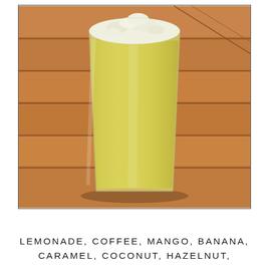[Figure (photo): A clear plastic cup filled with pale yellow lemonade drink, topped with frothy foam, sitting on a wooden slatted surface/table]
LEMONADE, COFFEE, MANGO, BANANA, CARAMEL, COCONUT, HAZELNUT,